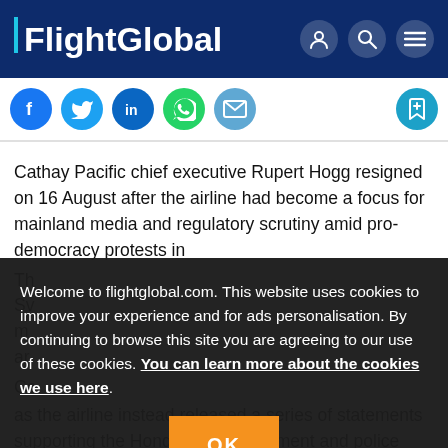FlightGlobal
[Figure (screenshot): Social sharing icons: Facebook, Twitter, LinkedIn, WhatsApp, Email, and a bookmark/save icon]
Cathay Pacific chief executive Rupert Hogg resigned on 16 August after the airline had become a focus for mainland media and regulatory scrutiny amid pro-democracy protests in
Welcome to flightglobal.com. This website uses cookies to improve your experience and for ads personalisation. By continuing to browse this site you are agreeing to our use of these cookies. You can learn more about the cookies we use here.
as the airline instead released a series of statements supporting the Hong Kong government and police efforts to